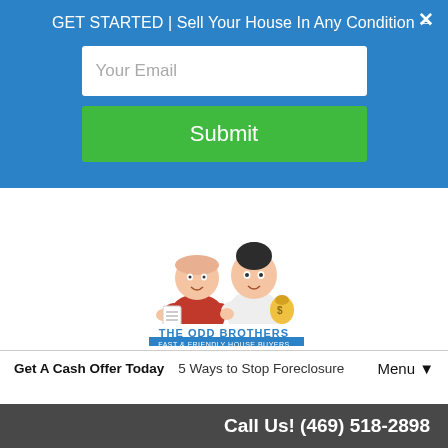GET STARTED | Sell Your House In Any Condition →  ✕
Your Email
Submit
[Figure (illustration): Cartoon illustration of two characters – The Odd Brothers – Fast & Friendly House Buyers logo]
Get A Cash Offer Today    5 Ways to Stop Foreclosure    Menu ▼
Understanding the
Call Us! (469) 518-2898